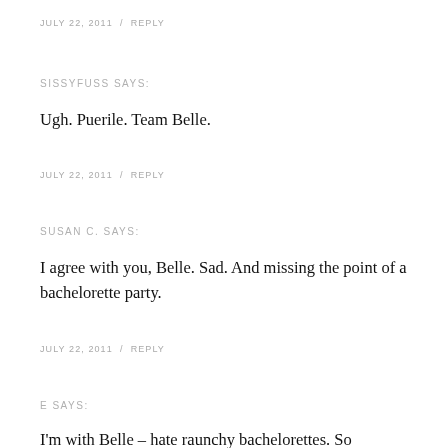JULY 22, 2011  /  REPLY
SISSYFUSS SAYS:
Ugh. Puerile. Team Belle.
JULY 22, 2011  /  REPLY
SUSAN C. SAYS:
I agree with you, Belle. Sad. And missing the point of a bachelorette party.
JULY 22, 2011  /  REPLY
E SAYS:
I'm with Belle – hate raunchy bachelorettes. So unclassy.